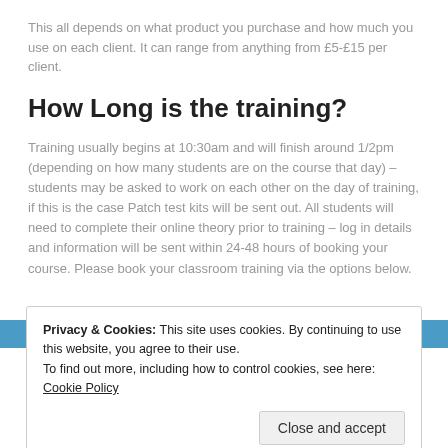This all depends on what product you purchase and how much you use on each client. It can range from anything from £5-£15 per client.
How Long is the training?
Training usually begins at 10:30am and will finish around 1/2pm (depending on how many students are on the course that day) – students may be asked to work on each other on the day of training, if this is the case Patch test kits will be sent out. All students will need to complete their online theory prior to training – log in details and information will be sent within 24-48 hours of booking your course. Please book your classroom training via the options below.
Privacy & Cookies: This site uses cookies. By continuing to use this website, you agree to their use. To find out more, including how to control cookies, see here: Cookie Policy
Close and accept